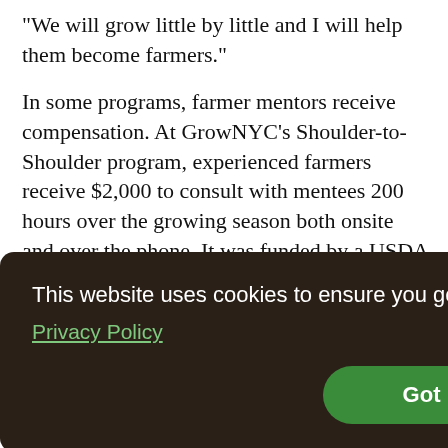“We will grow little by little and I will help them become farmers.”
In some programs, farmer mentors receive compensation. At GrowNYC’s Shoulder-to-Shoulder program, experienced farmers receive $2,000 to consult with mentees 200 hours over the growing season both onsite and over the phone. It was funded by a USDA grant that expired and now the sweetgreen restaurant chain is providing funding.
This website uses cookies to ensure you get the best experience on our website.
Privacy Policy
Got it!
years are paired with more experienced farm